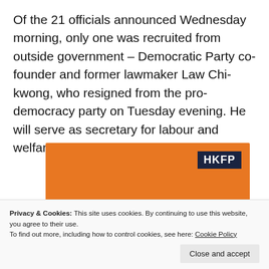Of the 21 officials announced Wednesday morning, only one was recruited from outside government – Democratic Party co-founder and former lawmaker Law Chi-kwong, who resigned from the pro-democracy party on Tuesday evening. He will serve as secretary for labour and welfare.
[Figure (other): HKFP orange promotional banner with logo and headline 'Help safeguard independent media &']
Privacy & Cookies: This site uses cookies. By continuing to use this website, you agree to their use.
To find out more, including how to control cookies, see here: Cookie Policy
Close and accept